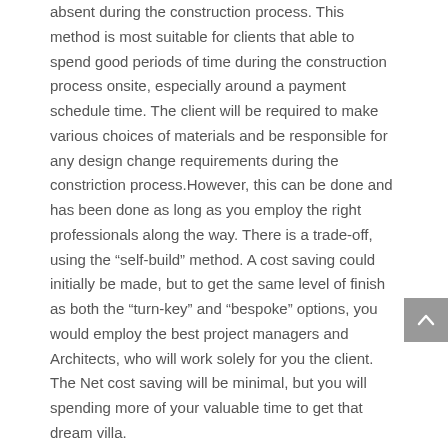absent during the construction process. This method is most suitable for clients that able to spend good periods of time during the construction process onsite, especially around a payment schedule time. The client will be required to make various choices of materials and be responsible for any design change requirements during the constriction process.However, this can be done and has been done as long as you employ the right professionals along the way. There is a trade-off, using the “self-build” method. A cost saving could initially be made, but to get the same level of finish as both the “turn-key” and “bespoke” options, you would employ the best project managers and Architects, who will work solely for you the client. The Net cost saving will be minimal, but you will spending more of your valuable time to get that dream villa.
Can I rent my villa out?
This is a very good way to quickly get back your initial investment and the most common and economical